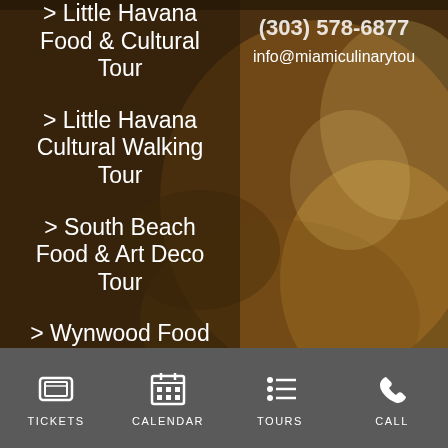> Little Havana Food & Cultural Tour
(303) 578-6877
info@miamiculinarytou
> Little Havana Cultural Walking Tour
> South Beach Food & Art Deco Tour
> Wynwood Food
TICKETS  CALENDAR  TOURS  CALL